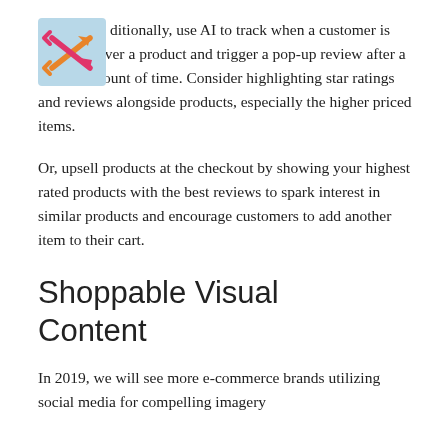[Figure (logo): Shuffle/random icon with orange and pink arrows forming a cross/shuffle symbol on a light blue background]
ditionally, use AI to track when a customer is hovering over a product and trigger a pop-up review after a certain amount of time. Consider highlighting star ratings and reviews alongside products, especially the higher priced items.
Or, upsell products at the checkout by showing your highest rated products with the best reviews to spark interest in similar products and encourage customers to add another item to their cart.
Shoppable Visual Content
In 2019, we will see more e-commerce brands utilizing social media for compelling imagery